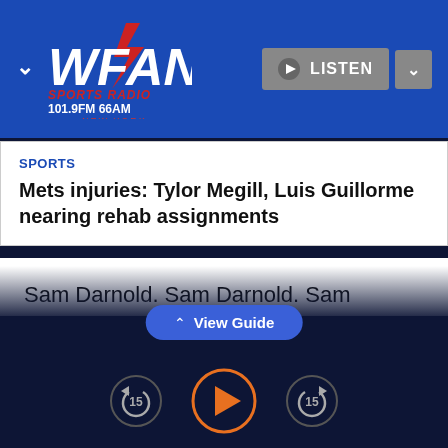[Figure (logo): WFAN Sports Radio 101.9FM 66AM New York logo on blue header bar with LISTEN button and chevrons]
SPORTS
Mets injuries: Tylor Megill, Luis Guillorme nearing rehab assignments
Sam Darnold. Sam Darnold. Sam Darnold. Sam Darnold. Sam Darnold.
Well, now that I got that out of the way. There are 52 other players on the Jets roster other than the
View Guide
[Figure (other): Audio player controls: rewind 15s, play button (orange), forward 15s]